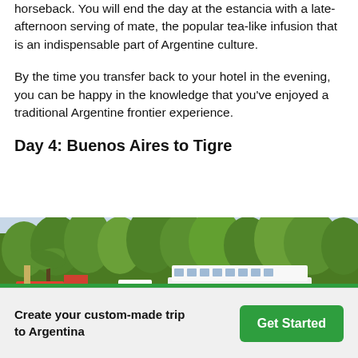horseback. You will end the day at the estancia with a late-afternoon serving of mate, the popular tea-like infusion that is an indispensable part of Argentine culture.
By the time you transfer back to your hotel in the evening, you can be happy in the knowledge that you've enjoyed a traditional Argentine frontier experience.
Day 4: Buenos Aires to Tigre
[Figure (photo): Photo of the Tigre river delta showing colorful boats and ferries docked at a pier, with lush green trees in the background and a cloudy sky.]
Create your custom-made trip to Argentina
Get Started